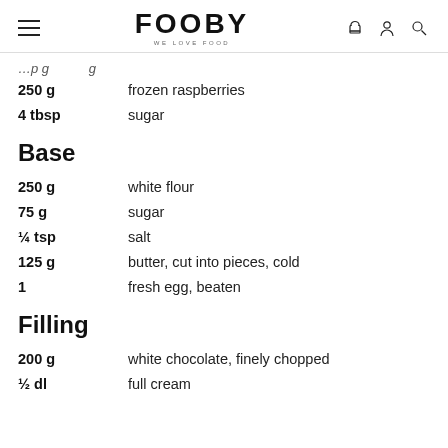FOOBY WE LOVE FOOD
250 g   frozen raspberries
4 tbsp   sugar
Base
250 g   white flour
75 g   sugar
¼ tsp   salt
125 g   butter, cut into pieces, cold
1   fresh egg, beaten
Filling
200 g   white chocolate, finely chopped
½ dl   full cream